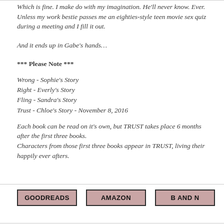Which is fine. I make do with my imagination. He'll never know. Ever. Unless my work bestie passes me an eighties-style teen movie sex quiz
during a meeting and I fill it out.

And it ends up in Gabe's hands…
*** Please Note ***
Wrong - Sophie's Story
Right - Everly's Story
Fling - Sandra's Story
Trust - Chloe's Story - November 8, 2016
Each book can be read on it's own, but TRUST takes place 6 months after the first three books.
Characters from those first three books appear in TRUST, living their happily ever afters.
[Figure (other): Three buttons: GOODREADS, AMAZON, B AND N on pink/rose background with dark border]